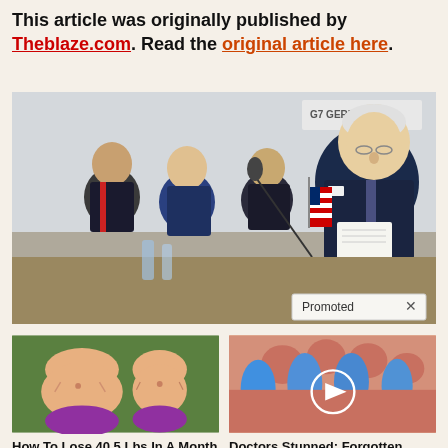This article was originally published by Theblaze.com. Read the original article here.
[Figure (photo): Photo of President Biden looking down at papers at a conference table, with three other men in suits seated to his left, an American flag in the foreground, and a G7 Germany sign in the background. A 'Promoted X' label overlays the bottom right.]
[Figure (photo): Illustrated image of two female torsos side by side showing weight loss transformation, wearing purple swimwear bottoms]
How To Lose 40.5 Lbs In A Month (Eat This Once Every Day)
🔥 138,917
[Figure (photo): Photo of feet with blue toe separators, with a video play button overlay circle in the center]
Doctors Stunned: Forgotten Study Changes Everything We Know About Toenail Fungus
🔥 2,140